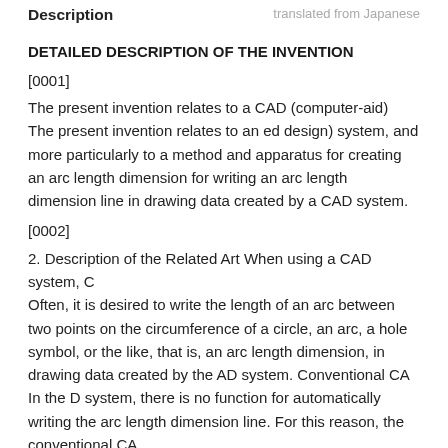Description | translated from Japanese
DETAILED DESCRIPTION OF THE INVENTION
[0001]
The present invention relates to a CAD (computer-aid) The present invention relates to an ed design) system, and more particularly to a method and apparatus for creating an arc length dimension for writing an arc length dimension line in drawing data created by a CAD system.
[0002]
2. Description of the Related Art When using a CAD system, C
Often, it is desired to write the length of an arc between two points on the circumference of a circle, an arc, a hole symbol, or the like, that is, an arc length dimension, in drawing data created by the AD system. Conventional CA
In the D system, there is no function for automatically writing the arc length dimension line. For this reason, the conventional CA
If you want to write the arc length dimension in the D system,